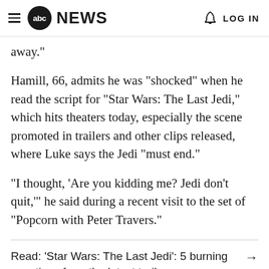abc NEWS  LOG IN
away."
Hamill, 66, admits he was "shocked" when he read the script for "Star Wars: The Last Jedi," which hits theaters today, especially the scene promoted in trailers and other clips released, where Luke says the Jedi "must end."
"I thought, 'Are you kidding me? Jedi don't quit,'" he said during a recent visit to the set of "Popcorn with Peter Travers."
Read: 'Star Wars: The Last Jedi': 5 burning questions from the latest trailer →